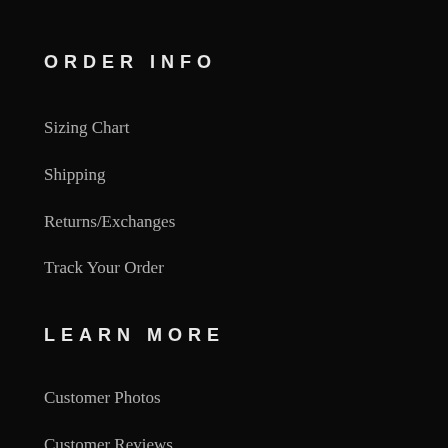ORDER INFO
Sizing Chart
Shipping
Returns/Exchanges
Track Your Order
LEARN MORE
Customer Photos
Customer Reviews
FAQ
Privacy Policy
Terms of Service
Disclosure Policy